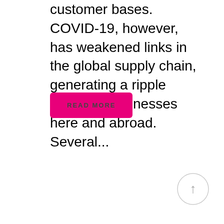customer bases. COVID-19, however, has weakened links in the global supply chain, generating a ripple effect on businesses here and abroad. Several...
READ MORE